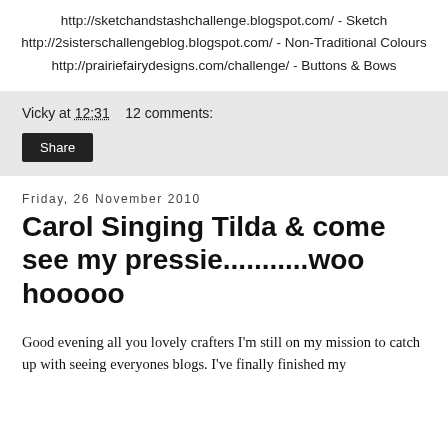http://sketchandstashchallenge.blogspot.com/  -  Sketch
http://2sisterschallengeblog.blogspot.com/  -  Non-Traditional Colours
http://prairiefairydesigns.com/challenge/  -  Buttons & Bows
Vicky at 12:31    12 comments:
Share
Friday, 26 November 2010
Carol Singing Tilda & come see my pressie...........woo hooooo
Good evening all you lovely crafters I'm still on my mission to catch up with seeing everyones blogs. I've finally finished my